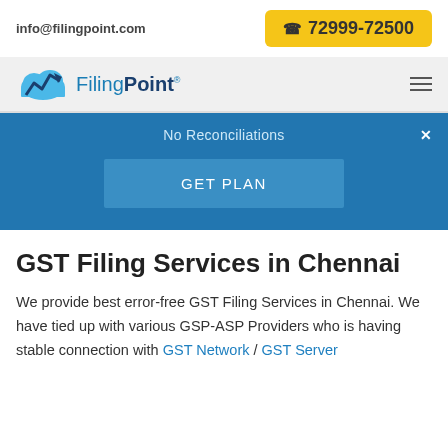info@filingpoint.com   📞 72999-72500
[Figure (logo): FilingPoint logo with cloud and graph icon, blue and dark blue text]
No Reconciliations  ✕
GET PLAN
GST Filing Services in Chennai
We provide best error-free GST Filing Services in Chennai. We have tied up with various GSP-ASP Providers who is having stable connection with GST Network / GST Server